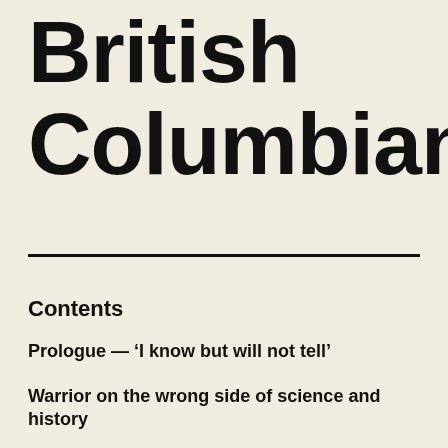British Columbians
Contents
Prologue — ‘I know but will not tell’
Warrior on the wrong side of science and history